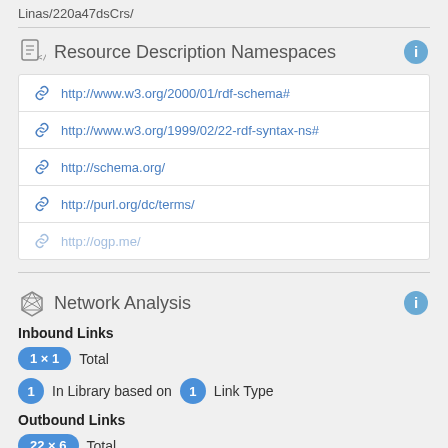Linas/220a47dsCrs/
Resource Description Namespaces
http://www.w3.org/2000/01/rdf-schema#
http://www.w3.org/1999/02/22-rdf-syntax-ns#
http://schema.org/
http://purl.org/dc/terms/
http://ogp.me/
Network Analysis
Inbound Links
1 × 1 Total
1 In Library based on 1 Link Type
Outbound Links
22 × 6 Total